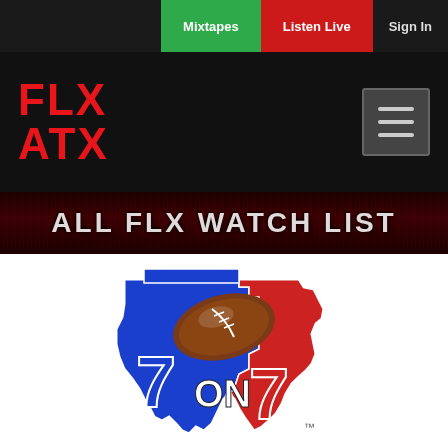Mixtapes | Listen Live | Sign In
[Figure (logo): FLX ATX logo in red bold text on black background with hamburger menu icon]
[Figure (logo): ALL FLX WATCH LIST banner in white/grey bold text on dark red textured background]
[Figure (logo): 7 on 7 Texas football logo - Texas state shape in blue and red with football and '7 on 7' text]